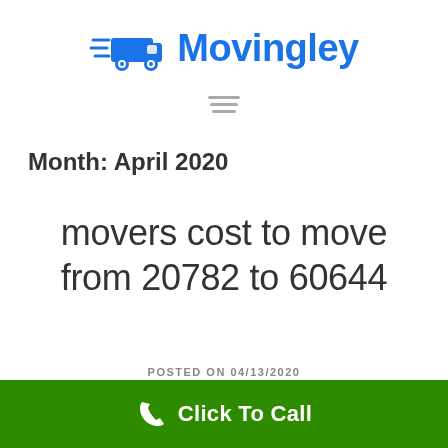[Figure (logo): Movingley logo with blue moving truck icon and blue text 'Movingley']
[Figure (other): Hamburger menu icon with three horizontal gray lines]
Month: April 2020
movers cost to move from 20782 to 60644
POSTED ON 04/13/2020
Click To Call